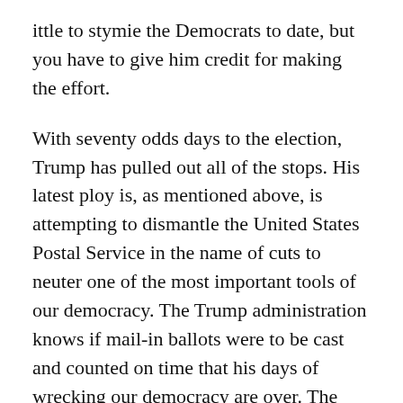ittle to stymie the Democrats to date, but you have to give him credit for making the effort.
With seventy odds days to the election, Trump has pulled out all of the stops. His latest ploy is, as mentioned above, is attempting to dismantle the United States Postal Service in the name of cuts to neuter one of the most important tools of our democracy. The Trump administration knows if mail-in ballots were to be cast and counted on time that his days of wrecking our democracy are over. The acting Postmaster General just yesterday claimed that no cuts to the agency will be put into effect until January next year after the election is over and counted. Yet, in reality, no one believes that Republicans will sit still and let the post office do its job. There is too much at stake like the death of the administration, and hopefully, a slew of Trump supporting